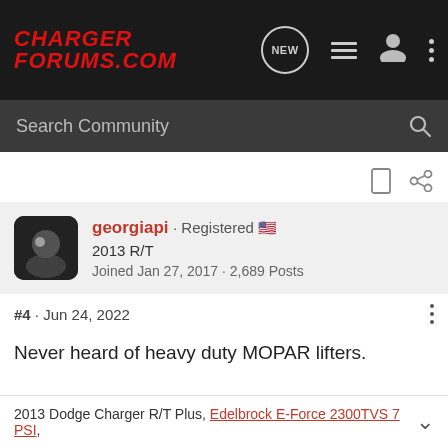CHARGER FORUMS.COM
Search Community
georgiapi · Registered 🇺🇸
2013 R/T
Joined Jan 27, 2017 · 2,689 Posts
#4 · Jun 24, 2022
Never heard of heavy duty MOPAR lifters.
2013 Dodge Charger R/T Plus, Edelbrock E-Force 2300TVS 7 PSI,